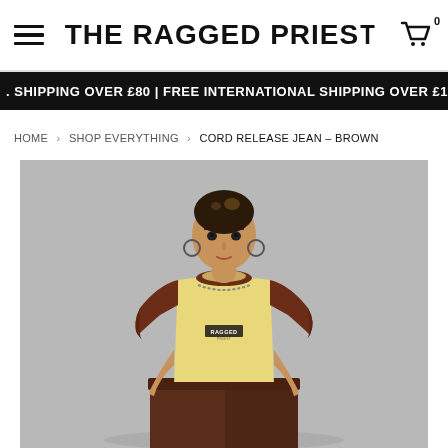THE RAGGED PRIEST
FREE UK SHIPPING OVER £80 | FREE INTERNATIONAL SHIPPING OVER £100
HOME > SHOP EVERYTHING > CORD RELEASE JEAN – BROWN
[Figure (photo): Model wearing a yellow and brown raglan crop t-shirt with RAGGED branding, paired with brown cord trousers. Grey background studio shot.]